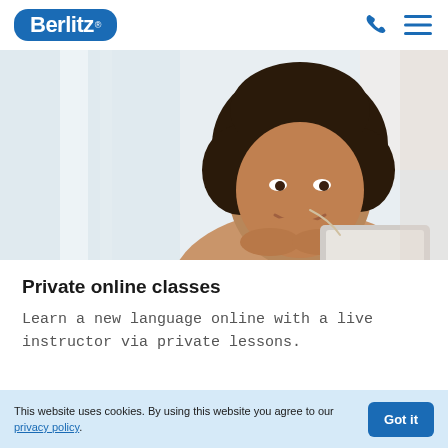[Figure (logo): Berlitz logo — white text on blue rounded rectangle background, with registered trademark symbol]
[Figure (photo): Smiling young Black woman with natural afro hair, wearing earphones, resting chin on hands, looking at a laptop/tablet screen. Bright indoor background. Warm beige top.]
Private online classes
Learn a new language online with a live instructor via private lessons.
This website uses cookies. By using this website you agree to our privacy policy.